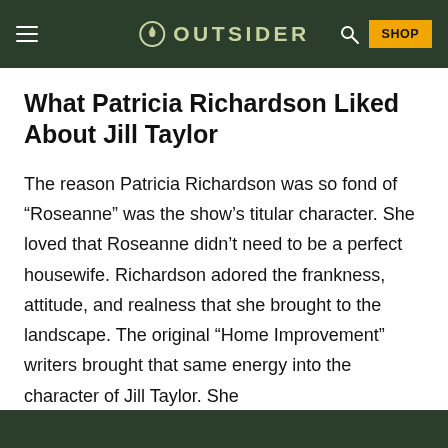OUTSIDER — navigation bar with hamburger menu, logo, search, and SHOP button
What Patricia Richardson Liked About Jill Taylor
The reason Patricia Richardson was so fond of “Roseanne” was the show’s titular character. She loved that Roseanne didn’t need to be a perfect housewife. Richardson adored the frankness, attitude, and realness that she brought to the landscape. The original “Home Improvement” writers brought that same energy into the character of Jill Taylor. She